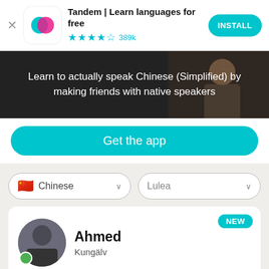[Figure (screenshot): Tandem app advertisement banner with app icon (pink and teal overlapping speech bubbles on white rounded square), app title, star rating, and INSTALL button]
[Figure (photo): Dark background hero image with a person visible on the right side, overlaid with text: 'Learn to actually speak Chinese (Simplified) by making friends with native speakers']
Get the app
[Figure (screenshot): Two filter dropdowns: 'Chinese' with Chinese flag, and 'Lulea' text, both with dropdown arrows]
[Figure (screenshot): User profile card showing Ahmed from Kungälv with avatar photo, green online dot, and NEW badge]